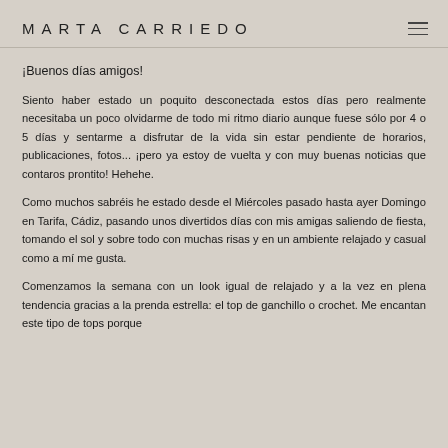MARTA CARRIEDO
¡Buenos días amigos!
Siento haber estado un poquito desconectada estos días pero realmente necesitaba un poco olvidarme de todo mi ritmo diario aunque fuese sólo por 4 o 5 días y sentarme a disfrutar de la vida sin estar pendiente de horarios, publicaciones, fotos... ¡pero ya estoy de vuelta y con muy buenas noticias que contaros prontito! Hehehe.
Como muchos sabréis he estado desde el Miércoles pasado hasta ayer Domingo en Tarifa, Cádiz, pasando unos divertidos días con mis amigas saliendo de fiesta, tomando el sol y sobre todo con muchas risas y en un ambiente relajado y casual como a mí me gusta.
Comenzamos la semana con un look igual de relajado y a la vez en plena tendencia gracias a la prenda estrella: el top de ganchillo o crochet. Me encantan este tipo de tops porque